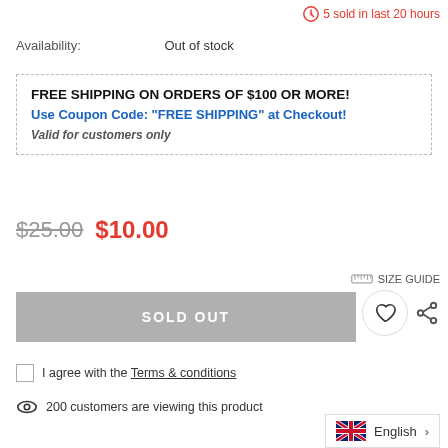5 sold in last 20 hours
Availability: Out of stock
FREE SHIPPING ON ORDERS OF $100 OR MORE!
Use Coupon Code: "FREE SHIPPING" at Checkout!
Valid for customers only
$25.00  $10.00
SIZE GUIDE
SOLD OUT
I agree with the Terms & conditions
200 customers are viewing this product
English